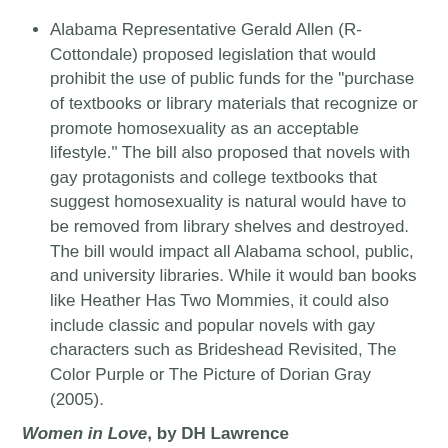Alabama Representative Gerald Allen (R-Cottondale) proposed legislation that would prohibit the use of public funds for the "purchase of textbooks or library materials that recognize or promote homosexuality as an acceptable lifestyle." The bill also proposed that novels with gay protagonists and college textbooks that suggest homosexuality is natural would have to be removed from library shelves and destroyed. The bill would impact all Alabama school, public, and university libraries. While it would ban books like Heather Has Two Mommies, it could also include classic and popular novels with gay characters such as Brideshead Revisited, The Color Purple or The Picture of Dorian Gray (2005).
Women in Love, by DH Lawrence
Seized by John Summers of the New York Society for the Suppression of Vice and declared